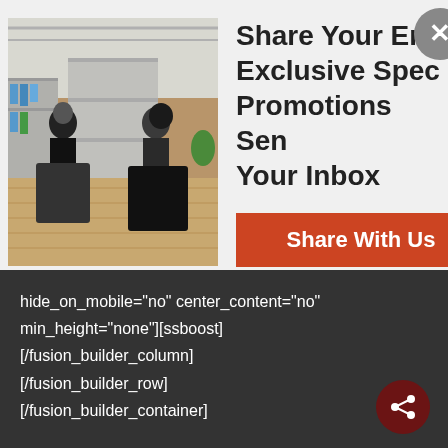[Figure (photo): Interior of a hair salon with stylists working on clients seated in chairs, wood floors, bright modern decor]
Share Your Email to Get Exclusive Specials and Promotions Sent Straight to Your Inbox
Share With Us
hide_on_mobile="no" center_content="no" min_height="none"][ssboost] [/fusion_builder_column] [/fusion_builder_row] [/fusion_builder_container]